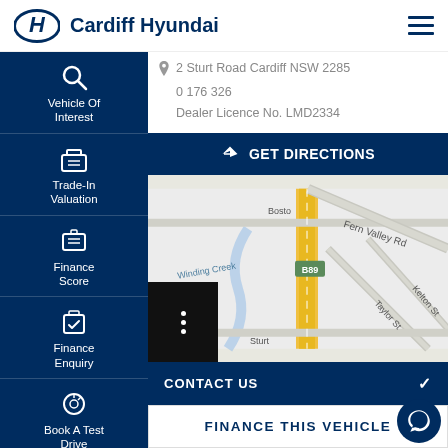Cardiff Hyundai
2 Sturt Road Cardiff NSW 2285
0 176 326
Dealer Licence No. LMD2334
GET DIRECTIONS
[Figure (map): Street map showing area around Cardiff NSW including Fern Valley Rd, Taylor St, Kelton St, Winding Creek, and B89 route]
CONTACT US
FINANCE THIS VEHICLE